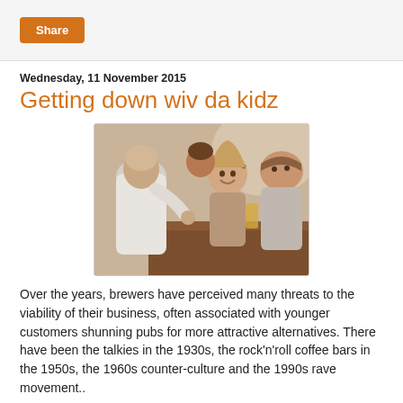Share
Wednesday, 11 November 2015
Getting down wiv da kidz
[Figure (photo): Young people sitting around a pub table with glasses of beer, socialising and smiling]
Over the years, brewers have perceived many threats to the viability of their business, often associated with younger customers shunning pubs for more attractive alternatives. There have been the talkies in the 1930s, the rock’n’roll coffee bars in the 1950s, the 1960s counter-culture and the 1990s rave movement..
At times, they’ve tried to fight back, as with the late 60s